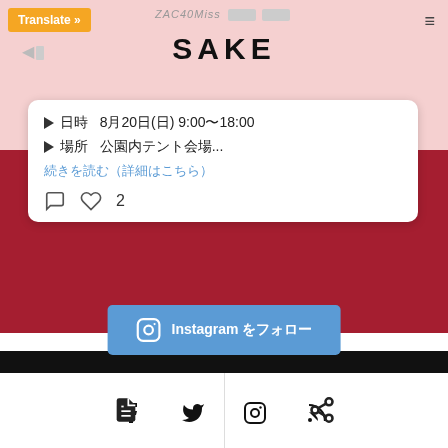[Figure (screenshot): Screenshot of a Japanese sake-related website showing a social media post card with event details, Instagram follow button, social media icons (Facebook, Twitter, Instagram, RSS), scroll-to-top button, and bottom navigation bar. The top area has a pink background, middle section is dark red/crimson, and bottom is white.]
Translate »
SAKE
▷日時　8月20日(日) 9:00〜18:00
▷場所　公園内テント会場...
続きを読む（詳細はこちら）
Instagram をフォロー
♡ 2